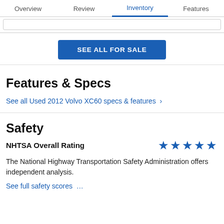Overview  Review  Inventory  Features
SEE ALL FOR SALE
Features & Specs
See all Used 2012 Volvo XC60 specs & features >
Safety
NHTSA Overall Rating
[Figure (other): Five blue stars representing NHTSA 5-star overall rating]
The National Highway Transportation Safety Administration offers independent analysis.
See full safety scores ...